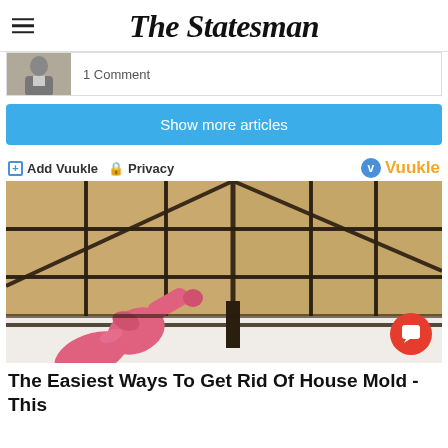The Statesman
[Figure (photo): Article thumbnail showing a person in a grey jacket]
1 Comment
Show more articles
Add Vuukle  Privacy  Vuukle
[Figure (photo): Photo of bathroom tiles with black mold on grout lines, with a pink rubber gloved hand pointing to mold at the corner of a bathtub]
The Easiest Ways To Get Rid Of House Mold - This